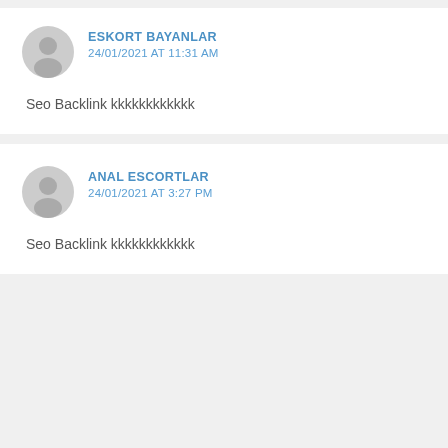ESKORT BAYANLAR
24/01/2021 AT 11:31 AM
Seo Backlink kkkkkkkkkkkk
ANAL ESCORTLAR
24/01/2021 AT 3:27 PM
Seo Backlink kkkkkkkkkkkk